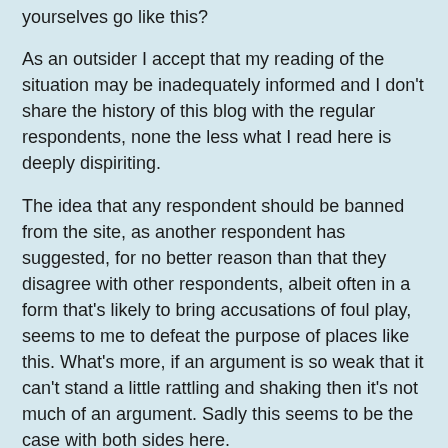yourselves go like this?
As an outsider I accept that my reading of the situation may be inadequately informed and I don't share the history of this blog with the regular respondents, none the less what I read here is deeply dispiriting.
The idea that any respondent should be banned from the site, as another respondent has suggested, for no better reason than that they disagree with other respondents, albeit often in a form that's likely to bring accusations of foul play, seems to me to defeat the purpose of places like this. What's more, if an argument is so weak that it can't stand a little rattling and shaking then it's not much of an argument. Sadly this seems to be the case with both sides here.
Can I suggest that many of the positions and people you all seem so keen to defend are not worthy of your interest or support and you look foolish sniping at one another over such poor prizes. You've allowed media narratives and the lies and half truths of the power elite to so trammel your minds that you can't see that still you have opinions greater than that which divides you. You